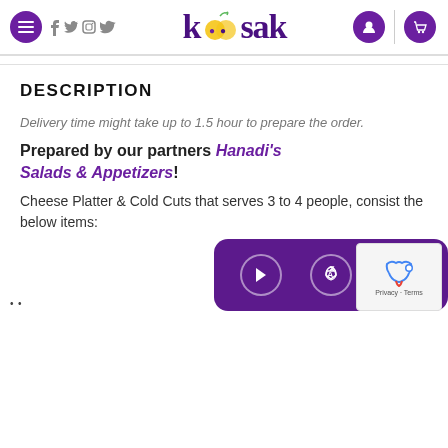Kosak website header with logo, menu, social icons, user icon, and cart icon
DESCRIPTION
Delivery time might take up to 1.5 hour to prepare the order.
Prepared by our partners Hanadi's Salads & Appetizers!
Cheese Platter & Cold Cuts that serves 3 to 4 people, consist the below items:
[Figure (screenshot): App store download banner showing Google Play, Apple App Store, and Huawei AppGallery icons on a purple rounded rectangle background]